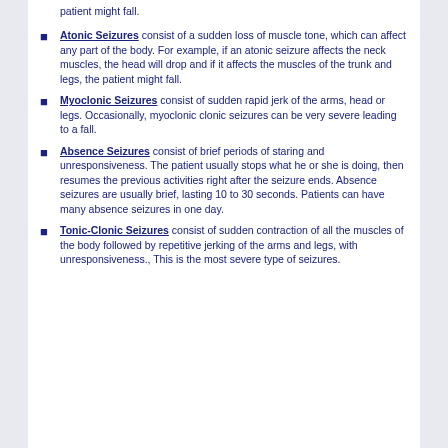patient might fall.
Atonic Seizures consist of a sudden loss of muscle tone, which can affect any part of the body. For example, if an atonic seizure affects the neck muscles, the head will drop and if it affects the muscles of the trunk and legs, the patient might fall.
Myoclonic Seizures consist of sudden rapid jerk of the arms, head or legs. Occasionally, myoclonic clonic seizures can be very severe leading to a fall.
Absence Seizures consist of brief periods of staring and unresponsiveness. The patient usually stops what he or she is doing, then resumes the previous activities right after the seizure ends. Absence seizures are usually brief, lasting 10 to 30 seconds. Patients can have many absence seizures in one day.
Tonic-Clonic Seizures consist of sudden contraction of all the muscles of the body followed by repetitive jerking of the arms and legs, with unresponsiveness., This is the most severe type of seizures.